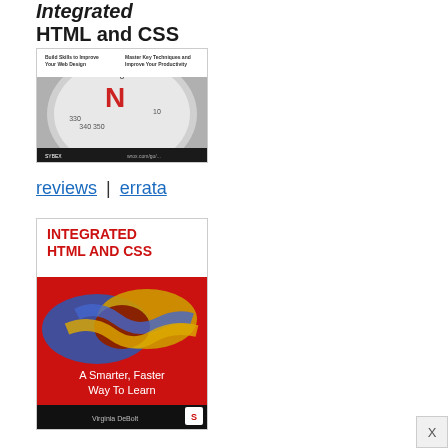Integrated HTML and CSS
[Figure (photo): Book cover of 'Integrated HTML and CSS' showing a compass with text 'Build Skills to Improve Your Web Design' and 'Master Key Techniques and Improve Your Productivity'. Published by Sybex/Wiley.]
reviews | errata
[Figure (photo): Book cover of 'Integrated HTML and CSS: A Smarter, Faster Way To Learn' showing a knotted rope in blue and yellow/gold colors on a red background. Published by Sybex. Author: Virginia DeBolt.]